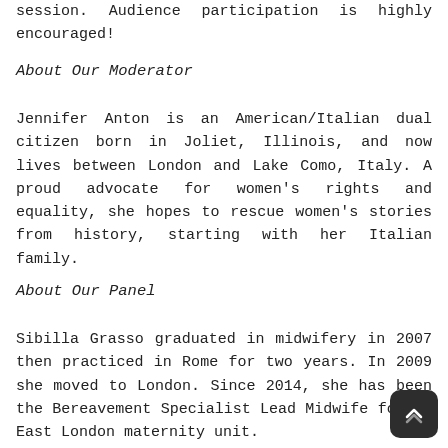session. Audience participation is highly encouraged!
About Our Moderator
Jennifer Anton is an American/Italian dual citizen born in Joliet, Illinois, and now lives between London and Lake Como, Italy. A proud advocate for women's rights and equality, she hopes to rescue women's stories from history, starting with her Italian family.
About Our Panel
Sibilla Grasso graduated in midwifery in 2007 then practiced in Rome for two years. In 2009 she moved to London. Since 2014, she has been the Bereavement Specialist Lead Midwife for an East London maternity unit.